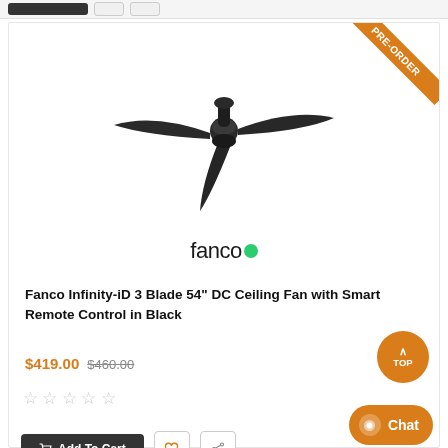[Figure (photo): Black ceiling fan (Fanco Infinity-iD 3 Blade 54-inch DC Ceiling Fan) viewed from above at an angle, with three blades extending outward, dark/black color, on white background. Orange PRE-ORDER ribbon in top right corner.]
[Figure (logo): Fanco brand logo in dark text with a green dot replacing the second 'o']
Fanco Infinity-iD 3 Blade 54" DC Ceiling Fan with Smart Remote Control in Black
$419.00 $460.00
☆☆☆☆☆
Add To Cart